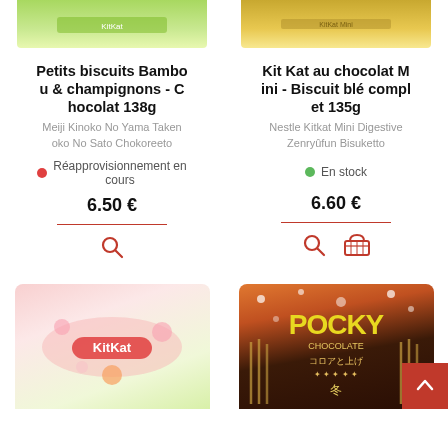[Figure (photo): Product image top strip - green KitKat bag partially visible]
[Figure (photo): Product image top strip - gold KitKat bar partially visible]
Petits biscuits Bambou & champignons - Chocolat 138g
Kit Kat au chocolat Mini - Biscuit blé complet 135g
Meiji Kinoko No Yama Takenoko No Sato Chokoreeto
Nestle Kitkat Mini Digestive Zenryûfun Bisuketto
Réapprovisionnement en cours
En stock
6.50 €
6.60 €
[Figure (photo): KitKat sakura peach package - pink packaging with cherry blossoms and peach]
[Figure (photo): Pocky Chocolate Winter package - dark brown packaging with Pocky sticks and snow motif]